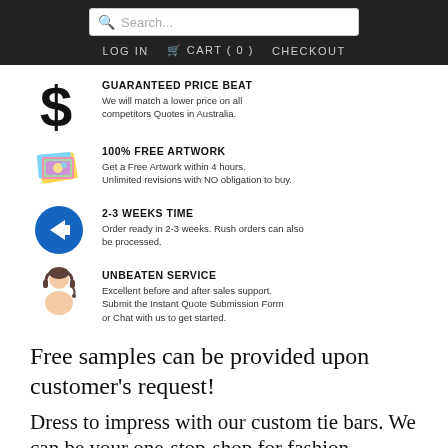Search... LOG IN  CART ( 0 )  CHECKOUT
[Figure (illustration): Dollar sign icon for Guaranteed Price Beat]
GUARANTEED PRICE BEAT
We will match a lower price on all competitors Quotes in Australia.
[Figure (illustration): Colorful artwork/paint icon for 100% Free Artwork]
100% FREE ARTWORK
Get a Free Artwork within 4 hours. Unlimited revisions with NO obligation to buy.
[Figure (illustration): Blue circle with white arrow pointing right for 2-3 Weeks Time]
2-3 WEEKS TIME
Order ready in 2-3 weeks. Rush orders can also be processed.
[Figure (illustration): Customer service person icon for Unbeaten Service]
UNBEATEN SERVICE
Excellent before and after sales support. Submit the Instant Quote Submission Form or Chat with us to get started.
Free samples can be provided upon customer's request!
Dress to impress with our custom tie bars. We can be your one-stop-shop for fashion accessories